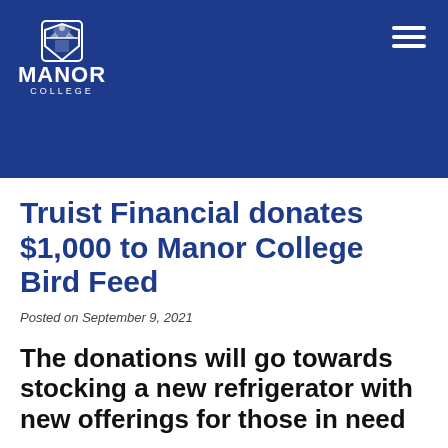[Figure (logo): Manor College logo with shield emblem, text MANOR COLLEGE in white on blue background, with hamburger menu icon on the right]
Truist Financial donates $1,000 to Manor College Bird Feed
Posted on September 9, 2021
The donations will go towards stocking a new refrigerator with new offerings for those in need